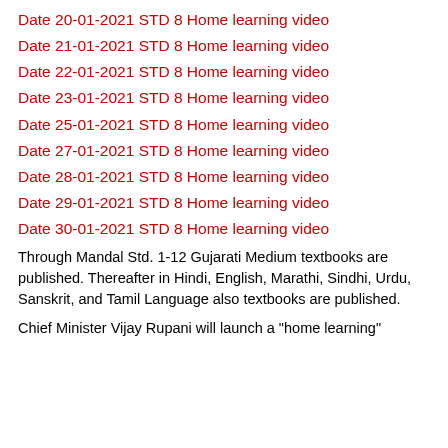Date 20-01-2021 STD 8 Home learning video
Date 21-01-2021 STD 8 Home learning video
Date 22-01-2021 STD 8 Home learning video
Date 23-01-2021 STD 8 Home learning video
Date 25-01-2021 STD 8 Home learning video
Date 27-01-2021 STD 8 Home learning video
Date 28-01-2021 STD 8 Home learning video
Date 29-01-2021 STD 8 Home learning video
Date 30-01-2021 STD 8 Home learning video
Through Mandal Std. 1-12 Gujarati Medium textbooks are published. Thereafter in Hindi, English, Marathi, Sindhi, Urdu, Sanskrit, and Tamil Language also textbooks are published.
Chief Minister Vijay Rupani will launch a "home learning"